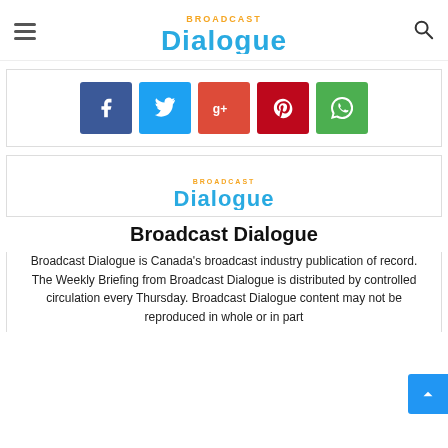Broadcast Dialogue
[Figure (logo): Social sharing buttons: Facebook, Twitter, Google+, Pinterest, WhatsApp]
[Figure (logo): Broadcast Dialogue logo (small, centered)]
Broadcast Dialogue
Broadcast Dialogue is Canada's broadcast industry publication of record. The Weekly Briefing from Broadcast Dialogue is distributed by controlled circulation every Thursday. Broadcast Dialogue content may not be reproduced in whole or in part